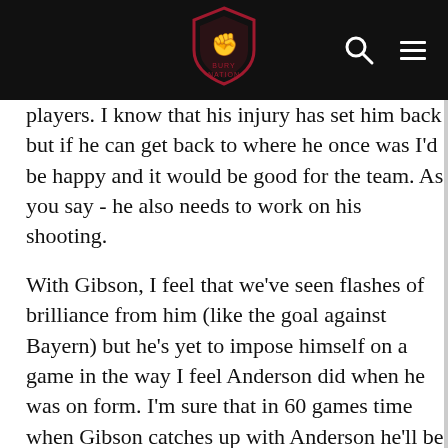BURY NATION [logo/header navigation]
players. I know that his injury has set him back but if he can get back to where he once was I'd be happy and it would be good for the team. As you say - he also needs to work on his shooting.
With Gibson, I feel that we've seen flashes of brilliance from him (like the goal against Bayern) but he's yet to impose himself on a game in the way I feel Anderson did when he was on form. I'm sure that in 60 games time when Gibson catches up with Anderson he'll be flying. I just think he needs some match time, to work on certain areas of his game and he'll be great. We'll hopefully get to the point where Gibson is putting pressure on Scholes for a place in